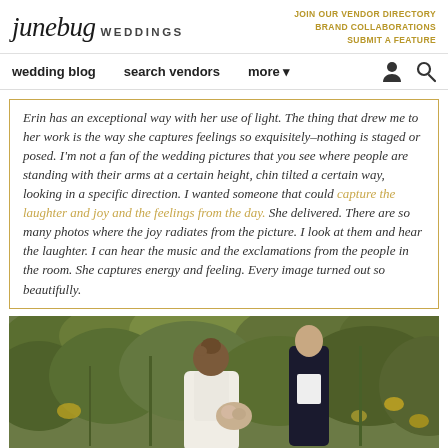junebug WEDDINGS | JOIN OUR VENDOR DIRECTORY | BRAND COLLABORATIONS | SUBMIT A FEATURE
wedding blog   search vendors   more
Erin has an exceptional way with her use of light. The thing that drew me to her work is the way she captures feelings so exquisitely–nothing is staged or posed. I'm not a fan of the wedding pictures that you see where people are standing with their arms at a certain height, chin tilted a certain way, looking in a specific direction. I wanted someone that could capture the laughter and joy and the feelings from the day. She delivered. There are so many photos where the joy radiates from the picture. I look at them and hear the laughter. I can hear the music and the exclamations from the people in the room. She captures energy and feeling. Every image turned out so beautifully.
[Figure (photo): Bride in a backless lace wedding dress and groom in a tuxedo standing in a garden with lush green and yellow foliage]